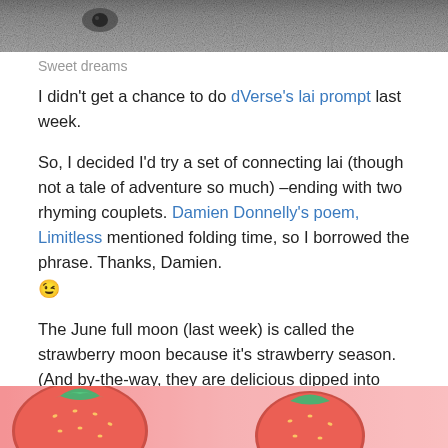[Figure (photo): Close-up photo of a furry animal (appears to be a raccoon or similar), grayscale/grey fur texture at the top of the page]
Sweet dreams
I didn’t get a chance to do dVerse’s lai prompt last week.
So, I decided I’d try a set of connecting lai (though not a tale of adventure so much) –ending with two rhyming couplets. Damien Donnelly’s poem, Limitless mentioned folding time, so I borrowed the phrase. Thanks, Damien. 😉
The June full moon (last week) is called the strawberry moon because it’s strawberry season. (And by-the-way, they are delicious dipped into cannoli dip, but then what wouldn’t be?)
[Figure (photo): Close-up photo of red strawberries on a pink background at the bottom of the page]